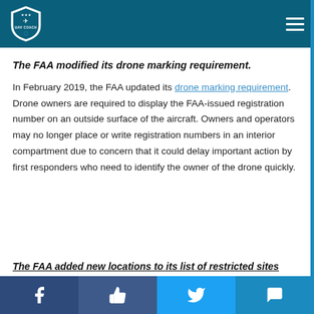UAV Coach navigation header
The FAA modified its drone marking requirement.
In February 2019, the FAA updated its drone marking requirement. Drone owners are required to display the FAA-issued registration number on an outside surface of the aircraft. Owners and operators may no longer place or write registration numbers in an interior compartment due to concern that it could delay important action by first responders who need to identify the owner of the drone quickly.
The FAA added new locations to its list of restricted sites
Social share bar: Facebook, Like, Twitter, SMS